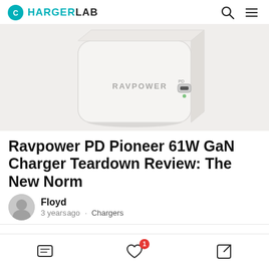CHARGERLAB
[Figure (photo): Photo of a white RAVPower GaN USB-C charger cube against a light grey/white background. The charger is compact and square-shaped with rounded corners, branded 'RAVPOWER' on the side, with a USB-C port visible on the front.]
Ravpower PD Pioneer 61W GaN Charger Teardown Review: The New Norm
Floyd
3 years ago · Chargers